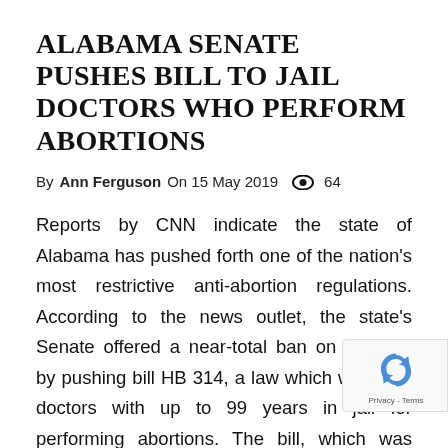ALABAMA SENATE PUSHES BILL TO JAIL DOCTORS WHO PERFORM ABORTIONS
By Ann Ferguson On 15 May 2019  👁  64
Reports by CNN indicate the state of Alabama has pushed forth one of the nation's most restrictive anti-abortion regulations. According to the news outlet, the state's Senate offered a near-total ban on abortion by pushing bill HB 314, a law which would hit doctors with up to 99 years in jail for performing abortions. The bill, which was passed last month, would allow for the aforementioned consequences to ensue with the